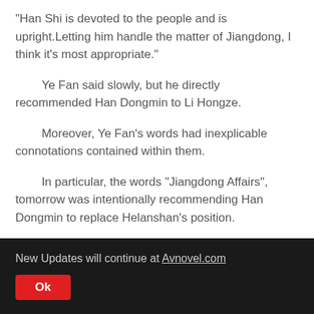"Han Shi is devoted to the people and is upright.Letting him handle the matter of Jiangdong, I think it's most appropriate."
Ye Fan said slowly, but he directly recommended Han Dongmin to Li Hongze.
Moreover, Ye Fan's words had inexplicable connotations contained within them.
In particular, the words "Jiangdong Affairs", tomorrow was intentionally recommending Han Dongmin to replace Helanshan's position.
"Oh?"
New Updates will continue at Avnovel.com